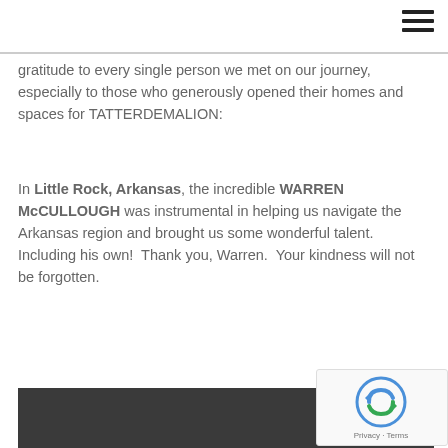≡
gratitude to every single person we met on our journey, especially to those who generously opened their homes and spaces for TATTERDEMALION:
In Little Rock, Arkansas, the incredible WARREN McCULLOUGH was instrumental in helping us navigate the Arkansas region and brought us some wonderful talent.  Including his own!  Thank you, Warren.  Your kindness will not be forgotten.
[Figure (photo): Bottom portion of a photograph showing a person from below the chin, dark background]